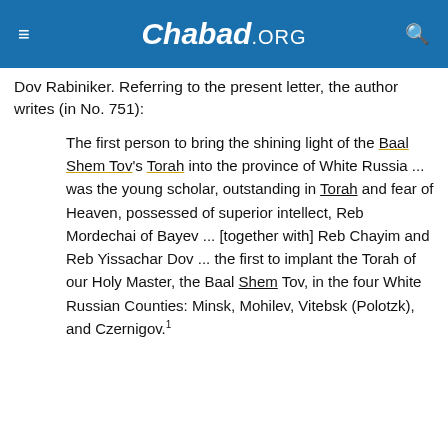Chabad.ORG
Dov Rabiniker. Referring to the present letter, the author writes (in No. 751):
The first person to bring the shining light of the Baal Shem Tov's Torah into the province of White Russia ... was the young scholar, outstanding in Torah and fear of Heaven, possessed of superior intellect, Reb Mordechai of Bayev ... [together with] Reb Chayim and Reb Yissachar Dov ... the first to implant the Torah of our Holy Master, the Baal Shem Tov, in the four White Russian Counties: Minsk, Mohilev, Vitebsk (Polotzk), and Czernigov.1